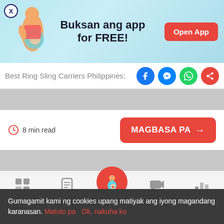[Figure (infographic): App promotion banner with pregnant woman illustration, text 'Buksan ang app for FREE!' and red 'Open App' button]
Best Ring Sling Carriers Philippines:
[Figure (infographic): Social share icons: Facebook, Messenger, WhatsApp, Share]
8 min read
[Figure (infographic): Red button with text 'MAGBASA PA →']
[Figure (infographic): Bottom navigation bar with icons: Tools, Articles, Home (pregnant woman circle), Feed, Poll]
Gumagamit kami ng cookies upang matiyak ang iyong magandang karanasan. Matuto pa   Ok, nakuha ko